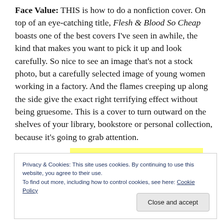Face Value: THIS is how to do a nonfiction cover. On top of an eye-catching title, Flesh & Blood So Cheap boasts one of the best covers I've seen in awhile, the kind that makes you want to pick it up and look carefully. So nice to see an image that's not a stock photo, but a carefully selected image of young women working in a factory. And the flames creeping up along the side give the exact right terrifying effect without being gruesome. This is a cover to turn outward on the shelves of your library, bookstore or personal collection, because it's going to grab attention.
Privacy & Cookies: This site uses cookies. By continuing to use this website, you agree to their use. To find out more, including how to control cookies, see here: Cookie Policy